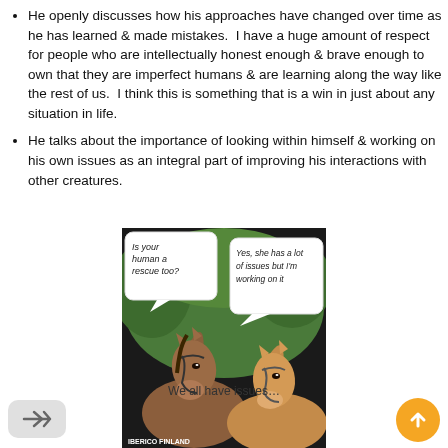He openly discusses how his approaches have changed over time as he has learned & made mistakes.  I have a huge amount of respect for people who are intellectually honest enough & brave enough to own that they are imperfect humans & are learning along the way like the rest of us.  I think this is something that is a win in just about any situation in life.
He talks about the importance of looking within himself & working on his own issues as an integral part of improving his interactions with other creatures.
[Figure (photo): A humorous meme photo of two horses with speech bubbles. Left horse says 'Is your human a rescue too?' Right horse says 'Yes, she has a lot of issues but I'm working on it'. Text at bottom left reads 'IBERICO FINLAND'.]
We all have issues…